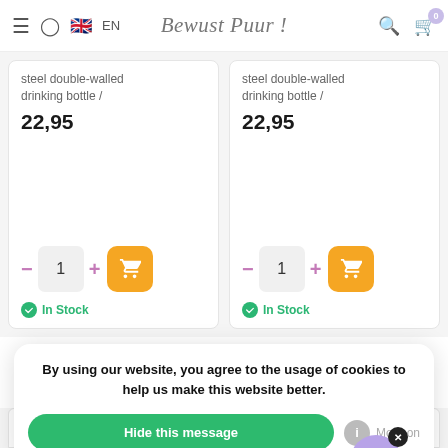Bewust Puur! — EN navigation header with hamburger, user, flag, search, cart
steel double-walled drinking bottle /
22,95
1 (quantity) — In Stock
steel double-walled drinking bottle /
22,95
1 (quantity) — In Stock
By using our website, you agree to the usage of cookies to help us make this website better.
Hide this message
More on